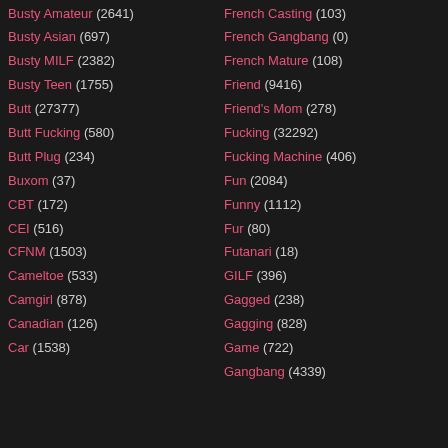Busty Amateur (2641)
Busty Asian (697)
Busty MILF (2382)
Busty Teen (1755)
Butt (27377)
Butt Fucking (580)
Butt Plug (234)
Buxom (37)
CBT (172)
CEI (516)
CFNM (1503)
Cameltoe (533)
Camgirl (878)
Canadian (126)
Car (1538)
French Casting (103)
French Gangbang (0)
French Mature (108)
Friend (9416)
Friend's Mom (278)
Fucking (32292)
Fucking Machine (406)
Fun (2084)
Funny (1112)
Fur (80)
Futanari (18)
GILF (396)
Gagged (238)
Gagging (828)
Game (722)
Gangbang (4339)